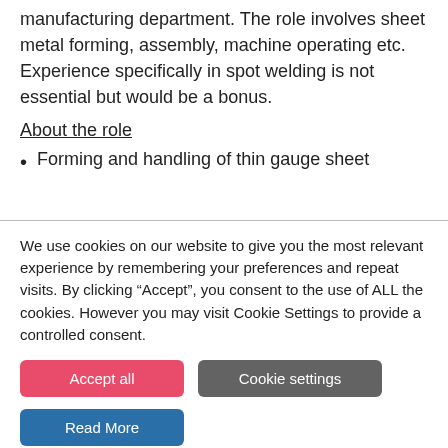manufacturing department. The role involves sheet metal forming, assembly, machine operating etc. Experience specifically in spot welding is not essential but would be a bonus.
About the role
Forming and handling of thin gauge sheet
We use cookies on our website to give you the most relevant experience by remembering your preferences and repeat visits. By clicking “Accept”, you consent to the use of ALL the cookies. However you may visit Cookie Settings to provide a controlled consent.
Accept all
Cookie settings
Read More